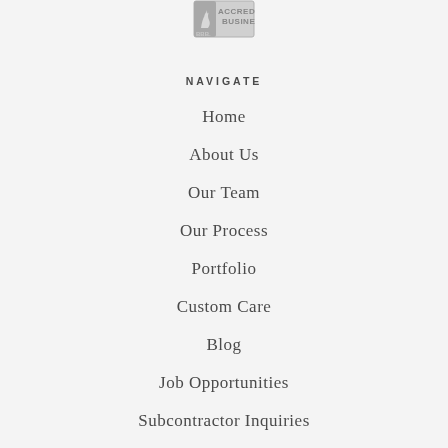[Figure (logo): BBB Accredited Business logo in grayscale]
NAVIGATE
Home
About Us
Our Team
Our Process
Portfolio
Custom Care
Blog
Job Opportunities
Subcontractor Inquiries